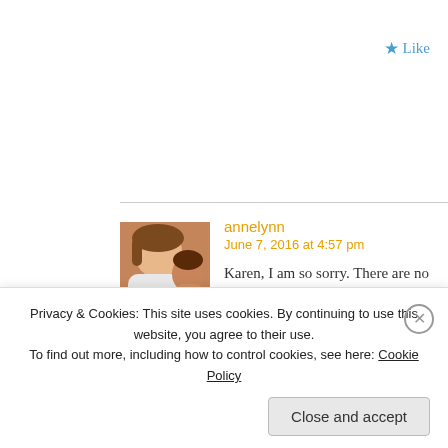★ Like
annelynn
June 7, 2016 at 4:57 pm
Karen, I am so sorry. There are no though, I think. My younger brothe strength to you.
★ Like
Privacy & Cookies: This site uses cookies. By continuing to use this website, you agree to their use.
To find out more, including how to control cookies, see here: Cookie Policy
Close and accept